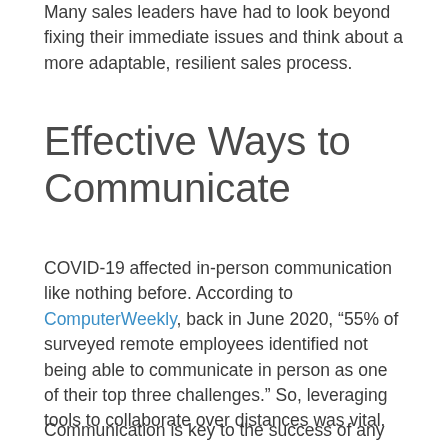Many sales leaders have had to look beyond fixing their immediate issues and think about a more adaptable, resilient sales process.
Effective Ways to Communicate
COVID-19 affected in-person communication like nothing before. According to ComputerWeekly, back in June 2020, “55% of surveyed remote employees identified not being able to communicate in person as one of their top three challenges.” So, leveraging tools to collaborate over distances was vital.
Communication is key to the success of any organization. With the rise of remote